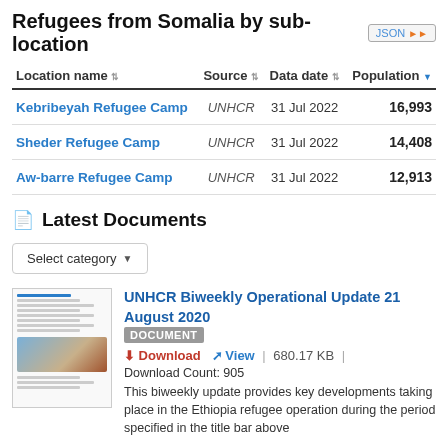Refugees from Somalia by sub-location
| Location name | Source | Data date | Population |
| --- | --- | --- | --- |
| Kebribeyah Refugee Camp | UNHCR | 31 Jul 2022 | 16,993 |
| Sheder Refugee Camp | UNHCR | 31 Jul 2022 | 14,408 |
| Aw-barre Refugee Camp | UNHCR | 31 Jul 2022 | 12,913 |
Latest Documents
Select category
UNHCR Biweekly Operational Update 21 August 2020
DOCUMENT
Download | View | 680.17 KB |
Download Count: 905
This biweekly update provides key developments taking place in the Ethiopia refugee operation during the period specified in the title bar above